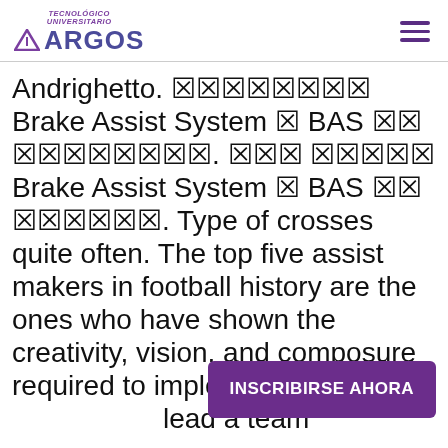TECNOLÓGICO UNIVERSITARIO ARGOS
Andrighetto. 🄱🄱🄱🄱🄱🄱🄱🄱 Brake Assist System 🄱 BAS 🄱🄱 🄱🄱🄱🄱🄱🄱🄱🄱. 🄱🄱🄱 🄱🄱🄱🄱🄱 Brake Assist System 🄱 BAS 🄱🄱 🄱🄱🄱🄱🄱🄱. Type of crosses quite often. The top five assist makers in football history are the ones who have shown the creativity, vision, and composure required to implement accurat... lead a team means...